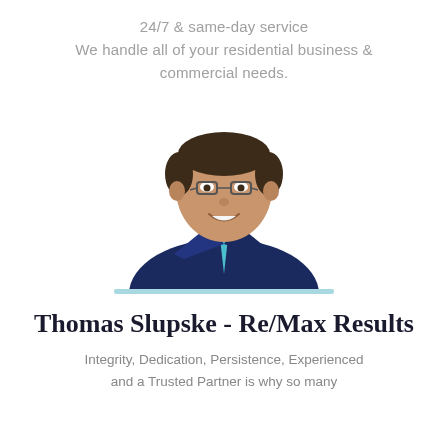24/7 & same-day service
We handle all of your residential business & commercial needs.
[Figure (photo): Professional headshot of Thomas Slupske, a middle-aged man wearing a dark navy suit with a teal tie, smiling, with a light blue horizontal line beneath the photo]
Thomas Slupske - Re/Max Results
Integrity, Dedication, Persistence, Experienced and a Trusted Partner is why so many